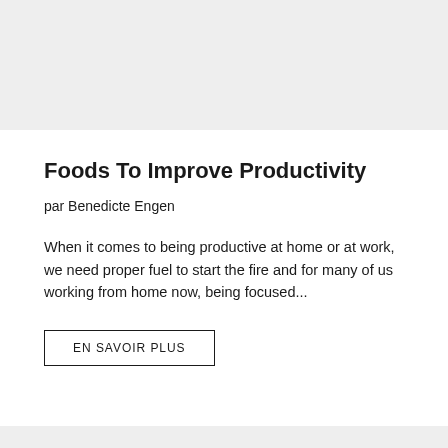[Figure (photo): Light gray placeholder image at top of article card]
Foods To Improve Productivity
par Benedicte Engen
When it comes to being productive at home or at work, we need proper fuel to start the fire and for many of us working from home now, being focused...
EN SAVOIR PLUS